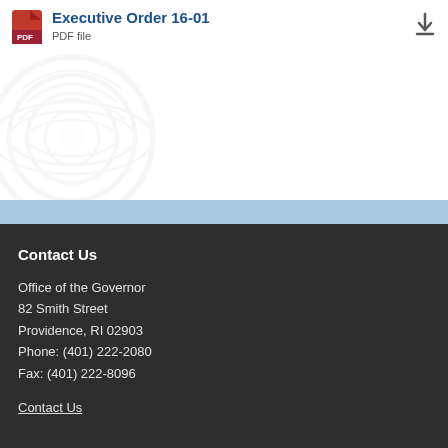[Figure (other): PDF file entry row with red PDF icon, title 'Executive Order 16-01', subtitle 'PDF file', and a download arrow on the right]
Office of the Governor
82 Smith Street
Providence, RI 02903
Phone: (401) 222-2080
Fax: (401) 222-8096
Contact Us
Contact Us